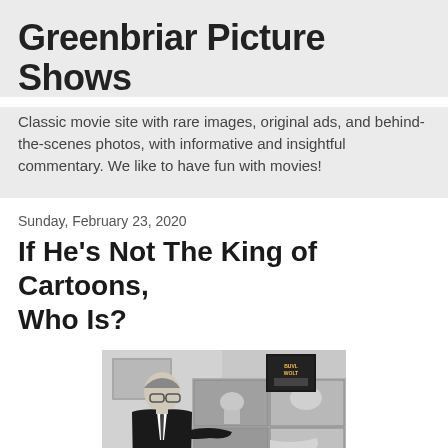Greenbriar Picture Shows
Classic movie site with rare images, original ads, and behind-the-scenes photos, with informative and insightful commentary. We like to have fun with movies!
Sunday, February 23, 2020
If He's Not The King of Cartoons, Who Is?
[Figure (photo): Black and white photograph of a man in a dark suit looking upward at what appears to be animation storyboards or artwork panels on a wall. A movie poster is visible in the upper right area of the image.]